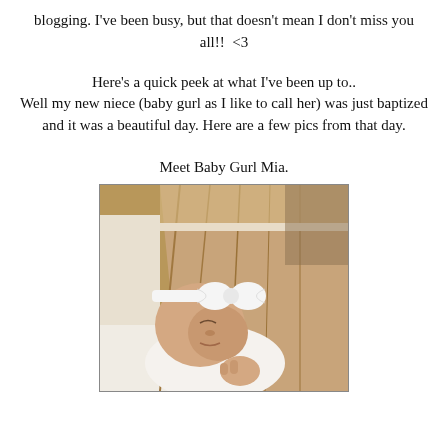blogging. I've been busy, but that doesn't mean I don't miss you all!!  <3
Here's a quick peek at what I've been up to.. Well my new niece (baby gurl as I like to call her) was just baptized and it was a beautiful day. Here are a few pics from that day.
Meet Baby Gurl Mia.
[Figure (photo): A baby girl named Mia lying on a blanket, wearing a white bow headband and white outfit, wrapped in a brown/tan blanket with white satin edges.]